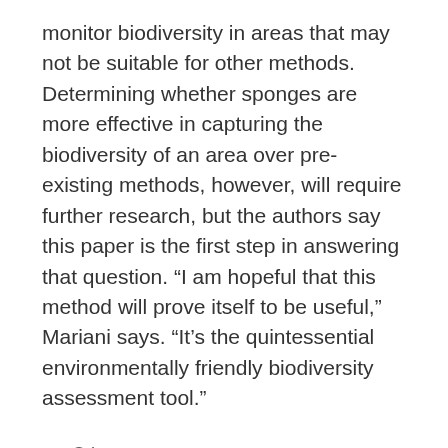monitor biodiversity in areas that may not be suitable for other methods. Determining whether sponges are more effective in capturing the biodiversity of an area over pre-existing methods, however, will require further research, but the authors say this paper is the first step in answering that question. “I am hopeful that this method will prove itself to be useful,” Mariani says. “It’s the quintessential environmentally friendly biodiversity assessment tool.”
Other
biodiversity, DNA
< Combination of water scarcity and inflexible demand puts world’s river basins at risk
> Daily meditation app may improve focus and